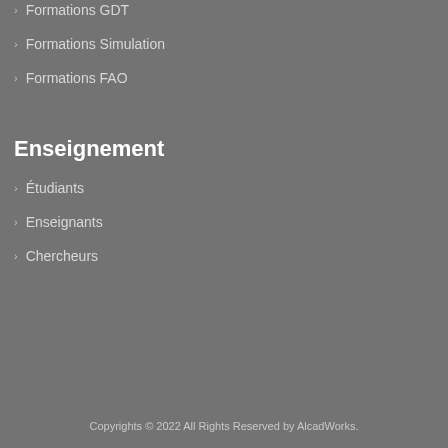Formations GDT
Formations Simulation
Formations FAO
Enseignement
Étudiants
Enseignants
Chercheurs
Copyrights © 2022 All Rights Reserved by AlcadWorks.